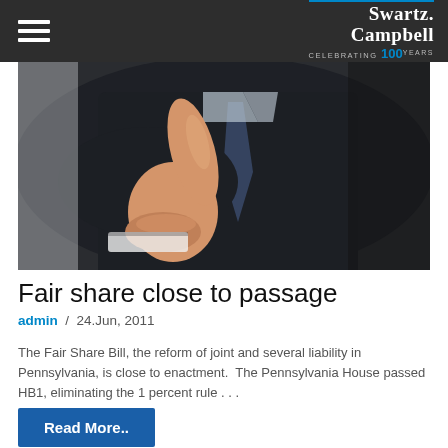Swartz Campbell — Celebrating 100 Years
[Figure (photo): Close-up of a man in a dark suit giving a thumbs-up gesture, with a tie visible in the background]
Fair share close to passage
admin  /  24.Jun, 2011
The Fair Share Bill, the reform of joint and several liability in Pennsylvania, is close to enactment.  The Pennsylvania House passed HB1, eliminating the 1 percent rule . . .
Read More..